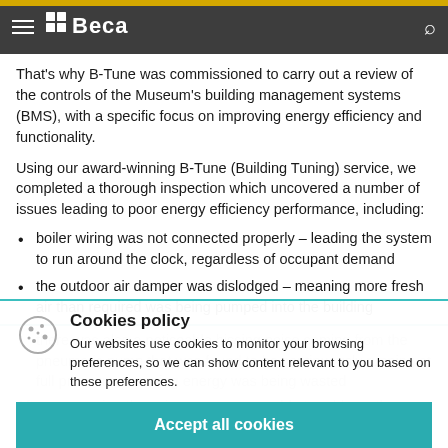Beca website navigation header with hamburger menu, Beca logo, and search icon
That's why B-Tune was commissioned to carry out a review of the controls of the Museum's building management systems (BMS), with a specific focus on improving energy efficiency and functionality.
Using our award-winning B-Tune (Building Tuning) service, we completed a thorough inspection which uncovered a number of issues leading to poor energy efficiency performance, including:
boiler wiring was not connected properly – leading the system to run around the clock, regardless of occupant demand
the outdoor air damper was dislodged – meaning more fresh air than required was being pumped into the building
there was also a noticeable hissing noise coming from the pneumatic pump that was found to be continuously running at full pressure...
After uncovering these issues, we were able to address them one by one... efficiency performance... full
Cookies policy
Our websites use cookies to monitor your browsing preferences, so we can show content relevant to you based on these preferences.
Accept all cookies